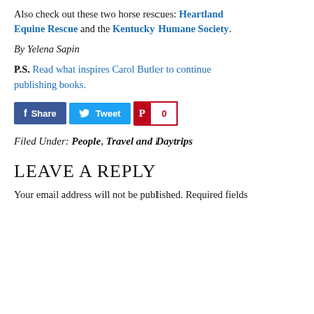Also check out these two horse rescues: Heartland Equine Rescue and the Kentucky Humane Society.
By Yelena Sapin
P.S. Read what inspires Carol Butler to continue publishing books.
[Figure (other): Social sharing buttons: Share (Facebook, blue), Tweet (Twitter, light blue), Pinterest count button showing 0]
Filed Under: People, Travel and Daytrips
LEAVE A REPLY
Your email address will not be published. Required fields